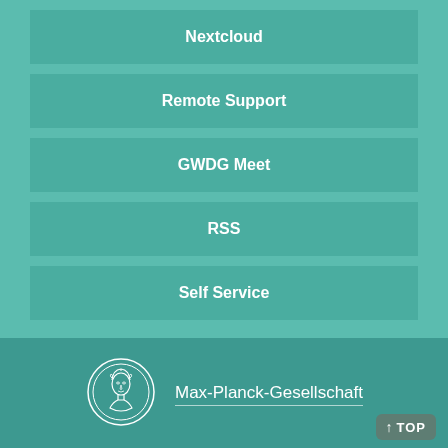Nextcloud
Remote Support
GWDG Meet
RSS
Self Service
[Figure (logo): Max-Planck-Gesellschaft circular coin/medal logo in white outline]
Max-Planck-Gesellschaft
Sitemap
Imprint
Privacy Policy
© 2022, Max-Planck-Gesellschaft